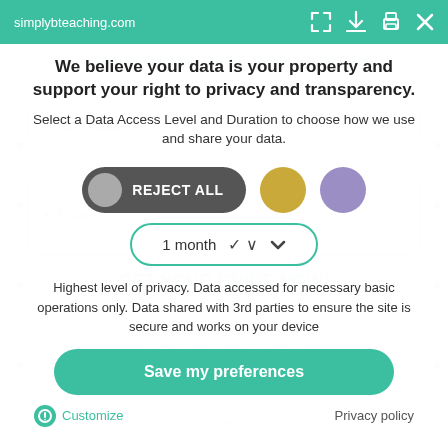simplybteaching.com
We believe your data is your property and support your right to privacy and transparency.
Select a Data Access Level and Duration to choose how we use and share your data.
REJECT ALL
1 month
Highest level of privacy. Data accessed for necessary basic operations only. Data shared with 3rd parties to ensure the site is secure and works on your device
Save my preferences
Customize
Privacy policy